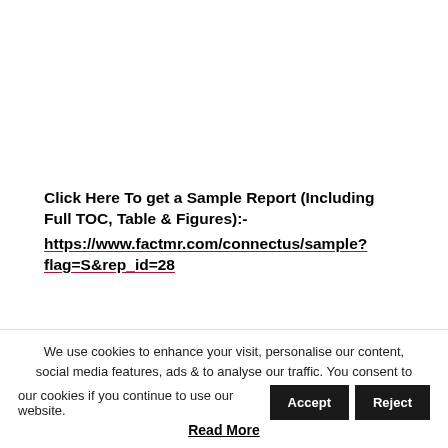Click Here To get a Sample Report (Including Full TOC, Table & Figures):- https://www.factmr.com/connectus/sample?flag=S&rep_id=28
Competition Analysis: Global Car
We use cookies to enhance your visit, personalise our content, social media features, ads & to analyse our traffic. You consent to our cookies if you continue to use our website. Accept Reject Read More